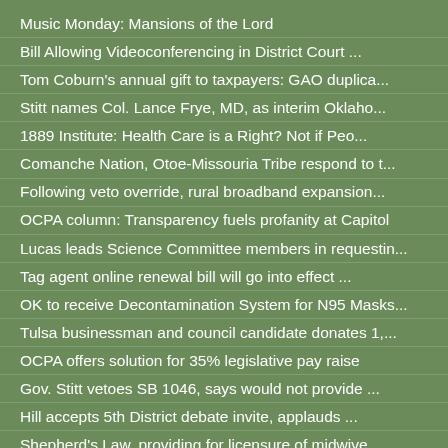Music Monday: Mansions of the Lord
Bill Allowing Videoconferencing in District Court ...
Tom Coburn's annual gift to taxpayers: GAO duplica...
Stitt names Col. Lance Frye, MD, as interim Oklaho...
1889 Institute: Health Care is a Right? Not if Peo...
Comanche Nation, Otoe-Missouria Tribe respond to t...
Following veto override, rural broadband expansion...
OCPA column: Transparency fuels profanity at Capitol
Lucas leads Science Committee members in requestin...
Tag agent online renewal bill will go into effect ...
OK to receive Decontamination System for N95 Masks...
Tulsa businessman and council candidate donates 1,...
OCPA offers solution for 35% legislative pay raise
Gov. Stitt vetoes SB 1046, says would not provide ...
Hill accepts 5th District debate invite, applauds ...
Shepherd's Law, providing for licensure of midwive...
Voters to decide on using TSET funds for Medicaid ...